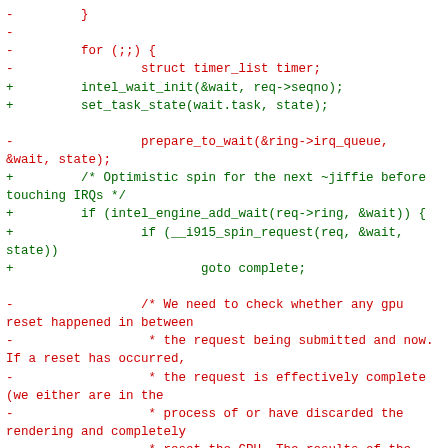Code diff showing changes to GPU wait/interrupt handling logic in i915 kernel driver